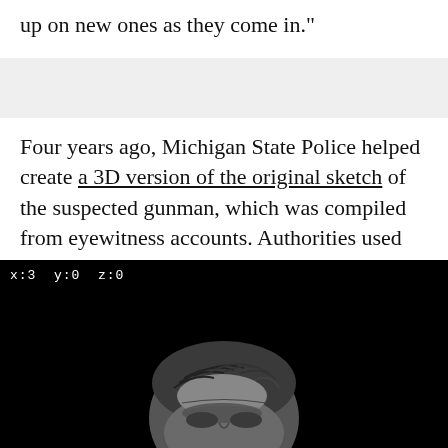up on new ones as they come in."
Four years ago, Michigan State Police helped create a 3D version of the original sketch of the suspected gunman, which was compiled from eyewitness accounts. Authorities used facial identification technology to make the original sketches of the suspect more lifelike.
[Figure (photo): Black and white video screenshot showing coordinates x:3 y:0 z:0 in top left corner, with a partial 3D face model/sketch visible at the bottom center against a black background.]